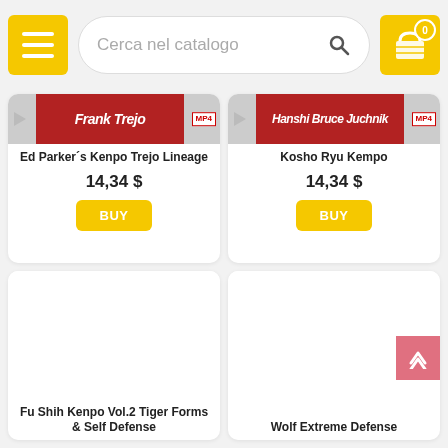Cerca nel catalogo
[Figure (screenshot): Ed Parker's Kenpo Trejo Lineage product card with MP4 badge, price 14,34 $, and BUY button]
Ed Parker´s Kenpo Trejo Lineage
14,34 $
[Figure (screenshot): Kosho Ryu Kempo product card with MP4 badge, price 14,34 $, and BUY button]
Kosho Ryu Kempo
14,34 $
[Figure (screenshot): Fu Shih Kenpo Vol.2 Tiger Forms & Self Defense product card, large white image area]
Fu Shih Kenpo Vol.2 Tiger Forms & Self Defense
[Figure (screenshot): Wolf Extreme Defense product card, large white image area]
Wolf Extreme Defense